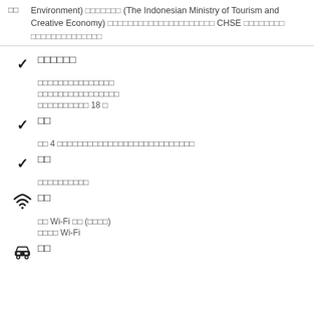Environment) ■■■■■■■ (The Indonesian Ministry of Tourism and Creative Economy) ■■■■■■■■■■■■■■■■■ CHSE ■■■■■■■■ ■■■■■■■■■■■■■
■■■■■■
■■■■■■■■■■■■■■■
■■■■■■■■■■■■■■■■
■■■■■■■■■■ 18 ■
■■
■■ 4 ■■■■■■■■■■■■■■■■■■■■■■■■■■
■■
■■■■■■■■■■
■■
■■ Wi-Fi ■■ (■■■■)
■■■■ Wi-Fi
■■